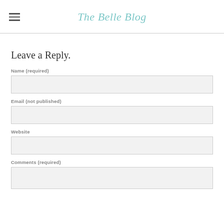The Belle Blog
Leave a Reply.
Name (required)
Email (not published)
Website
Comments (required)